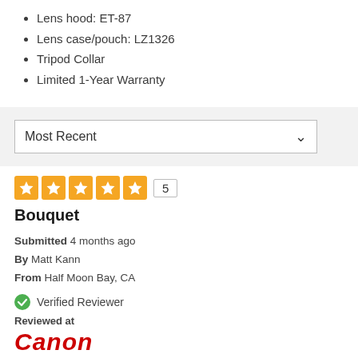Lens hood: ET-87
Lens case/pouch: LZ1326
Tripod Collar
Limited 1-Year Warranty
Most Recent
[Figure (other): Five orange star rating boxes showing 5 stars, followed by a count box showing '5']
Bouquet
Submitted 4 months ago
By Matt Kann
From Half Moon Bay, CA
Verified Reviewer
Reviewed at
[Figure (logo): Canon logo in red italic bold text]
i am an amateur so the technical details will be minimal here, but I